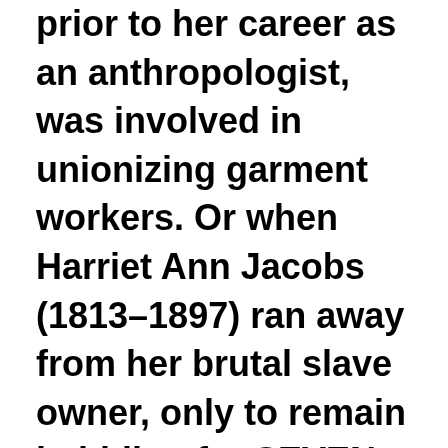prior to her career as an anthropologist, was involved in unionizing garment workers. Or when Harriet Ann Jacobs (1813–1897) ran away from her brutal slave owner, only to remain in hiding for SEVEN years, so she could be close to her children and watch them.

I think books have fed my feminist soul as I have naturally gravitated towards stories with women as the